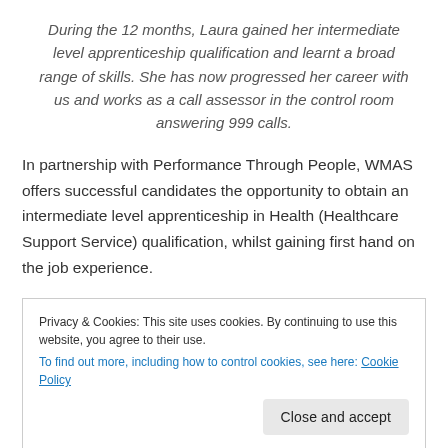During the 12 months, Laura gained her intermediate level apprenticeship qualification and learnt a broad range of skills. She has now progressed her career with us and works as a call assessor in the control room answering 999 calls.
In partnership with Performance Through People, WMAS offers successful candidates the opportunity to obtain an intermediate level apprenticeship in Health (Healthcare Support Service) qualification, whilst gaining first hand on the job experience.
Privacy & Cookies: This site uses cookies. By continuing to use this website, you agree to their use.
To find out more, including how to control cookies, see here: Cookie Policy
Close and accept
we want to hear from you.